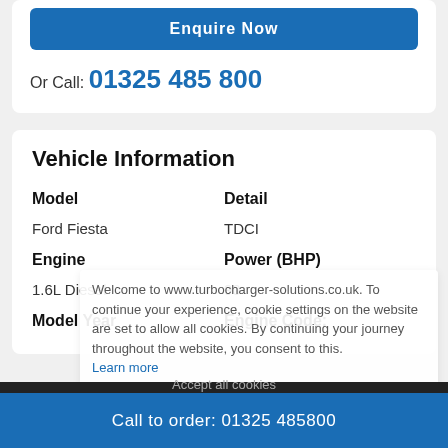Enquire Now
Or Call: 01325 485 800
Vehicle Information
| Model | Detail |
| --- | --- |
| Ford Fiesta | TDCI |
| Engine | Power (BHP) |
| 1.6L Diesel | 90 |
| Model Year | Engine Code: |
Welcome to www.turbocharger-solutions.co.uk. To continue your experience, cookie settings on the website are set to allow all cookies. By continuing your journey throughout the website, you consent to this.
Learn more
Accept all cookies
Call to order: 01325 485800